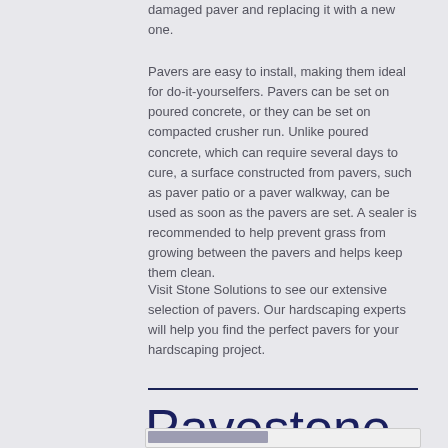damaged paver and replacing it with a new one.
Pavers are easy to install, making them ideal for do-it-yourselfers. Pavers can be set on poured concrete, or they can be set on compacted crusher run. Unlike poured concrete, which can require several days to cure, a surface constructed from pavers, such as paver patio or a paver walkway, can be used as soon as the pavers are set. A sealer is recommended to help prevent grass from growing between the pavers and helps keep them clean.
Visit Stone Solutions to see our extensive selection of pavers. Our hardscaping experts will help you find the perfect pavers for your hardscaping project.
Pavestone Pavers